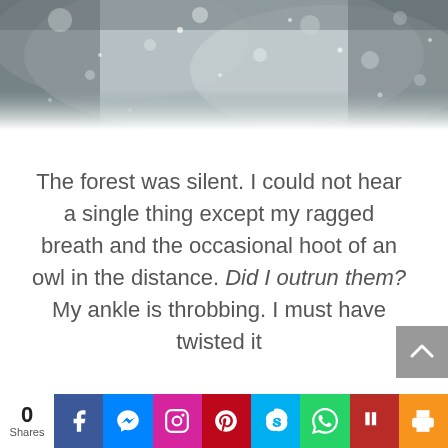[Figure (photo): Blurred bokeh background photo in grey and white tones, snow or light particles visible, abstract wintry atmosphere]
The forest was silent. I could not hear a single thing except my ragged breath and the occasional hoot of an owl in the distance. Did I outrun them? My ankle is throbbing. I must have twisted it
0 Shares | Facebook | Messenger | Instagram | Pinterest | Skype | WhatsApp | Quoter | Print